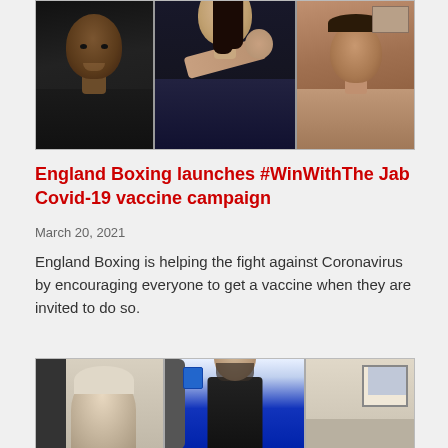[Figure (photo): Three-panel photo collage showing boxing participants: left panel shows a smiling young Black man in a dark tank top, middle panel shows a young woman with long dark hair in a hoodie throwing a punch, right panel shows a shirtless young man.]
England Boxing launches #WinWithThe Jab Covid-19 vaccine campaign
March 20, 2021
England Boxing is helping the fight against Coronavirus by encouraging everyone to get a vaccine when they are invited to do so.
[Figure (photo): Three-panel photo collage showing boxing club participants at a boxing gym: left panel shows an older woman, middle panel shows a bald man with a beard in dark clothing standing in front of a blue punching bag, right panel shows boxing gym interior with framed photos on wall.]